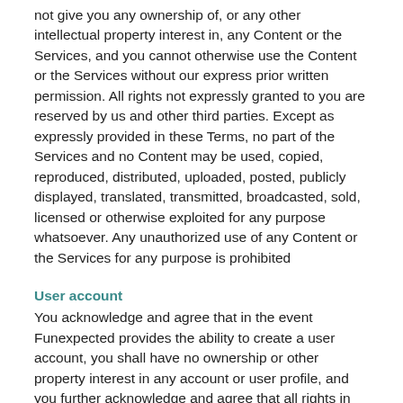not give you any ownership of, or any other intellectual property interest in, any Content or the Services, and you cannot otherwise use the Content or the Services without our express prior written permission. All rights not expressly granted to you are reserved by us and other third parties. Except as expressly provided in these Terms, no part of the Services and no Content may be used, copied, reproduced, distributed, uploaded, posted, publicly displayed, translated, transmitted, broadcasted, sold, licensed or otherwise exploited for any purpose whatsoever. Any unauthorized use of any Content or the Services for any purpose is prohibited
User account
You acknowledge and agree that in the event Funexpected provides the ability to create a user account, you shall have no ownership or other property interest in any account or user profile, and you further acknowledge and agree that all rights in and to any account or user profile are and shall forever be owned by and inure to the benefit of Funexpected. Funexpected does not recognize the transfer